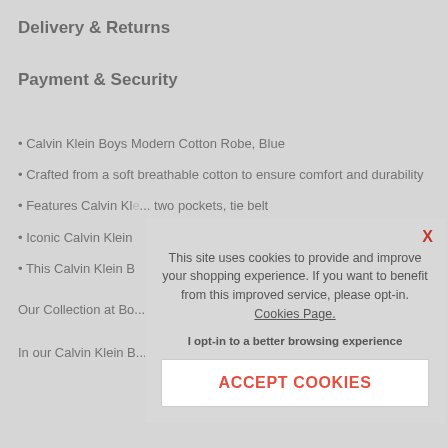Delivery & Returns
Payment & Security
• Calvin Klein Boys Modern Cotton Robe, Blue
• Crafted from a soft breathable cotton to ensure comfort and durability
• Features Calvin Kle... two pockets, tie belt
• Iconic Calvin Klein
• This Calvin Klein B
Our Collection at Bo... Calvin Klein Kids Sle
In our Calvin Klein B... Modern Cotton Robe... and X-Large (rangin
This site uses cookies to provide and improve your shopping experience. If you want to benefit from this improved service, please opt-in. Cookies Page.
I opt-in to a better browsing experience
ACCEPT COOKIES